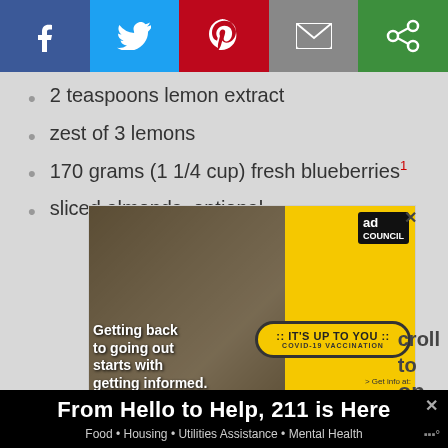[Figure (infographic): Social media share bar with Facebook, Twitter, Pinterest, Email, and a green share icon]
2 teaspoons lemon extract
zest of 3 lemons
170 grams (1 1/4 cup) fresh blueberries¹
sliced almonds, optional
[Figure (photo): Ad Council COVID-19 vaccination ad: people at outdoor event, 'IT'S UP TO YOU COVID-19 VACCINATION', 'Getting back to going out starts with getting informed.' text on yellow background]
From Hello to Help, 211 is Here — Food • Housing • Utilities Assistance • Mental Health